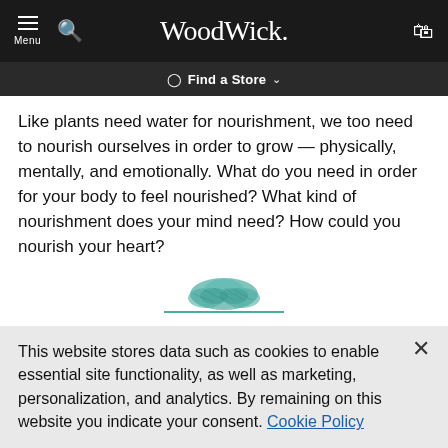WoodWick. Menu [hamburger] [search] [cart]
📍 Find a Store ˅
Like plants need water for nourishment, we too need to nourish ourselves in order to grow — physically, mentally, and emotionally. What do you need in order for your body to feel nourished? What kind of nourishment does your mind need? How could you nourish your heart?
[Figure (illustration): Decorative teal illustration of a plant/leaf mound above a teal horizontal line divider]
What can you provide for others just by being present?
This website stores data such as cookies to enable essential site functionality, as well as marketing, personalization, and analytics. By remaining on this website you indicate your consent. Cookie Policy